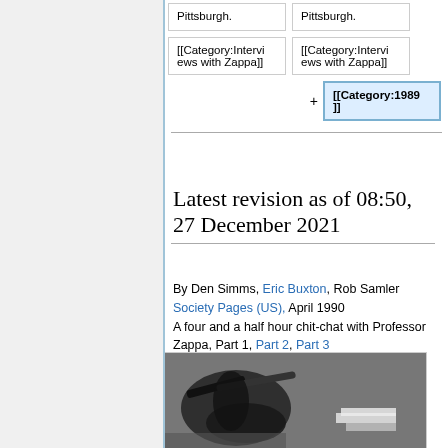| Pittsburgh. | Pittsburgh. |
| [[Category:Interviews with Zappa]] | [[Category:Interviews with Zappa]] |
|  | [[Category:1989]] |
Latest revision as of 08:50, 27 December 2021
By Den Simms, Eric Buxton, Rob Samler
Society Pages (US), April 1990
A four and a half hour chit-chat with Professor Zappa, Part 1, Part 2, Part 3
[Figure (photo): Black and white photograph, partially visible, showing some objects/instruments.]